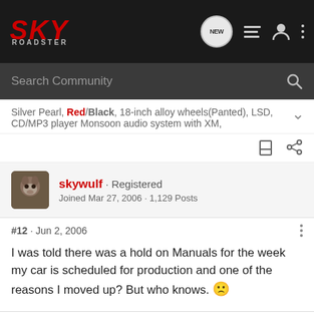SKY ROADSTER - community forum navigation bar with search
Silver Pearl, Red/Black, 18-inch alloy wheels(Panted), LSD, CD/MP3 player Monsoon audio system with XM,
skywulf · Registered
Joined Mar 27, 2006 · 1,129 Posts
#12 · Jun 2, 2006
I was told there was a hold on Manuals for the week my car is scheduled for production and one of the reasons I moved up? But who knows. 🙁